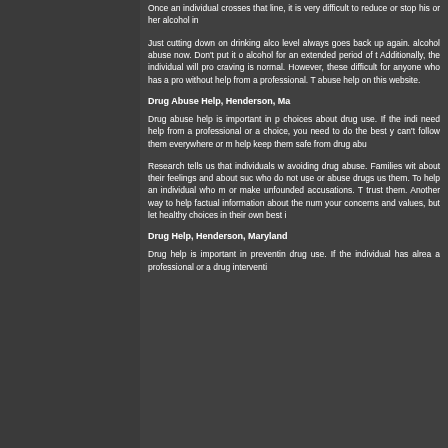Once an individual crosses that line, it is very difficult to reduce or stop his or her alcohol intake without help.
Just cutting down on drinking alcohol is not working since the level always goes back up again. You should seek help for alcohol abuse now. Don't put it off. If you have been using alcohol for an extended period of time, don't stop suddenly. Additionally, the individual will probably experience cravings. A craving is normal. However, these cravings can make it very difficult for anyone who has a problem with alcohol to quit without help from a professional. There is more information about abuse help on this website.
Drug Abuse Help, Henderson, Ma
Drug abuse help is important in preventing bad choices about drug use. If the individual in your life may need help from a professional or a drug intervention is your choice, you need to do the best you can for them. You can't follow them everywhere or monitor their every move to help keep them safe from drug abu
Research tells us that individuals with strong family ties do better at avoiding drug abuse. Families with good communication skills who talk about their feelings and about such things as drugs raise children who do not use or abuse drugs usually because of the respect for them. To help an individual who may be abusing drugs, don't judge or make unfounded accusations. Tell them the truth about how much you trust them. Another way to help an individual is to provide factual information about the numerous risks of drugs. You can share your concerns and values, but let them know that you want them to make healthy choices in their own best in
Drug Help, Henderson, Maryland
Drug help is important in preventing or stopping a person's drug use. If the individual has already started using, you should seek a professional or a drug interventi